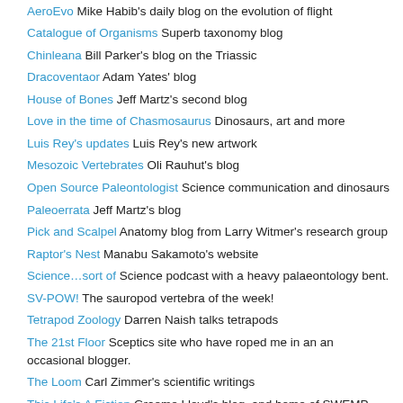AeroEvo Mike Habib's daily blog on the evolution of flight
Catalogue of Organisms Superb taxonomy blog
Chinleana Bill Parker's blog on the Triassic
Dracoventaor Adam Yates' blog
House of Bones Jeff Martz's second blog
Love in the time of Chasmosaurus Dinosaurs, art and more
Luis Rey's updates Luis Rey's new artwork
Mesozoic Vertebrates Oli Rauhut's blog
Open Source Paleontologist Science communication and dinosaurs
Paleoerrata Jeff Martz's blog
Pick and Scalpel Anatomy blog from Larry Witmer's research group
Raptor's Nest Manabu Sakamoto's website
Science…sort of Science podcast with a heavy palaeontology bent.
SV-POW! The sauropod vertebra of the week!
Tetrapod Zoology Darren Naish talks tetrapods
The 21st Floor Sceptics site who have roped me in an an occasional blogger.
The Loom Carl Zimmer's scientific writings
This Life's A Fiction Graeme Lloyd's blog, and home of SWEMP
What's in John's freezer? John Hutchinson's blog about his work on